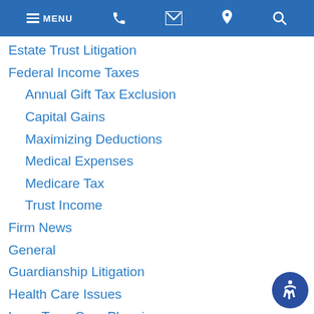MENU
Estate Trust Litigation
Federal Income Taxes
Annual Gift Tax Exclusion
Capital Gains
Maximizing Deductions
Medical Expenses
Medicare Tax
Trust Income
Firm News
General
Guardianship Litigation
Health Care Issues
Long Term Care Planning
Probate Administration
Probate and Trust Litigation
Retirement Savings
IRAs
Same-Sex Couples
Small Business
Business Income & Expense
Depreciation Deductions